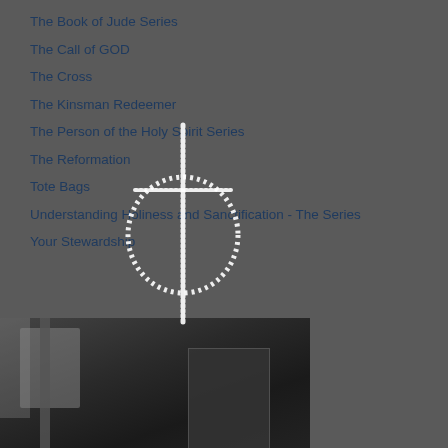The Book of Jude Series
The Call of GOD
The Cross
The Kinsman Redeemer
The Person of the Holy Spirit Series
The Reformation
Tote Bags
Understanding Holiness and Sanctification - The Series
Your Stewardship
[Figure (logo): White cross-and-circle logo watermark overlaid on the list]
[Figure (photo): Dark interior photograph of a church or building, partially visible at bottom of page]